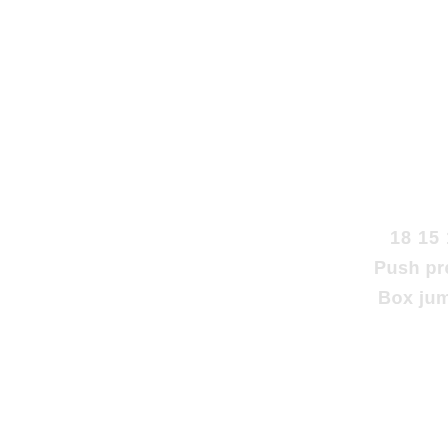18 15 12 9 6 3
Push presses 60kg
Box jump overs